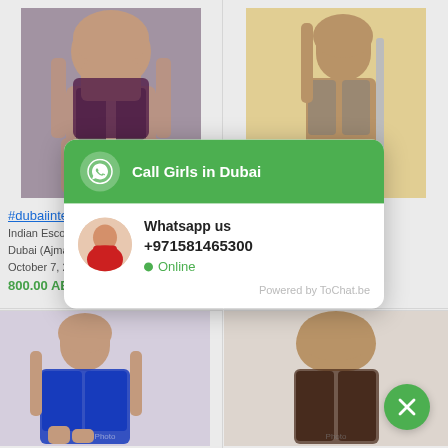[Figure (photo): Young woman in lingerie posing against grey wall]
#dubaiinternationalairpo...
Indian Escorts in Dubai - Dubai (Ajman)
October 7, 2021
800.00 AED
[Figure (photo): Woman in bikini posing near a pole with red heels]
#callgirlsdubaiinternatio...
Indian Escorts in Dubai - Dubai (Ajman)
October 7, 2021
800.00 AED
[Figure (photo): Woman in blue dress sitting]
[Figure (photo): Woman with dark hair]
[Figure (infographic): WhatsApp chat popup with Call Girls in Dubai, Whatsapp us +971581465300, Online status, Powered by ToChat.be]